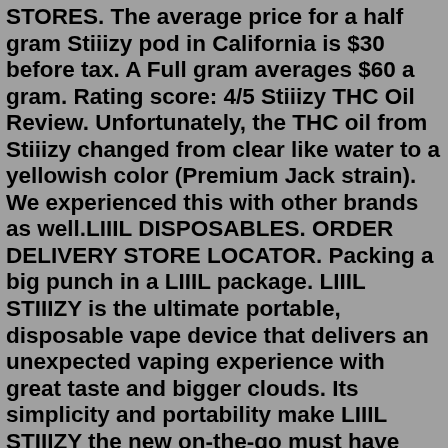STORES. The average price for a half gram Stiiizy pod in California is $30 before tax. A Full gram averages $60 a gram. Rating score: 4/5 Stiiizy THC Oil Review. Unfortunately, the THC oil from Stiiizy changed from clear like water to a yellowish color (Premium Jack strain). We experienced this with other brands as well.LIIIL DISPOSABLES. ORDER DELIVERY STORE LOCATOR. Packing a big punch in a LIIIL package. LIIIL STIIIZY is the ultimate portable, disposable vape device that delivers an unexpected vaping experience with great taste and bigger clouds. Its simplicity and portability make LIIIL STIIIZY the new on-the-go must have vape device. liiil stiiizy half gram disposable cart (1) torch live resin 1gm disposable carts (1) glazed carts (1) oc pharm (0) indica (0) indica hybrid (0) sativa (0) sativa hybrid (0) alien lab carts (1) clean carts (1) connected carts (1) fire tank disposable carts (1) jeeter juice disposable straws (2)These magnetic batteries are made to work ONLY with Stiiizy pods. Compatible with Half-Gram and Full-Gram pods. Try the classic